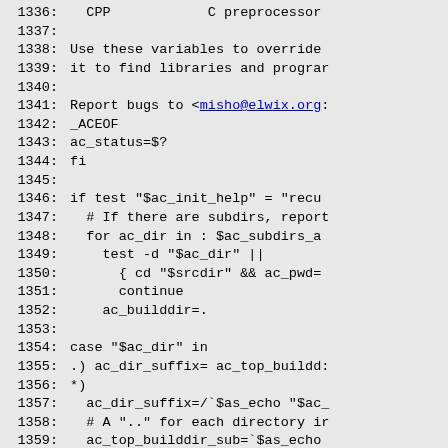Code listing lines 1336-1365 showing shell script/autoconf code including CPP C preprocessor comment, variable override text, bug report email, and shell script logic for ac_init_help, subdirectory handling, ac_dir suffix, ac_top_builddir_sub, esac, and ac_abs_top_builddir.